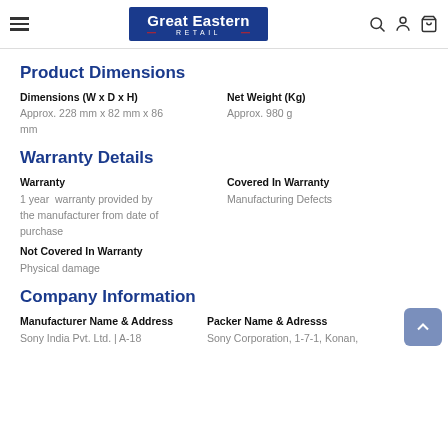Great Eastern RETAIL
Product Dimensions
Dimensions (W x D x H)
Approx. 228 mm x 82 mm x 86 mm
Net Weight (Kg)
Approx. 980 g
Warranty Details
Warranty
1 year  warranty provided by the manufacturer from date of purchase
Covered In Warranty
Manufacturing Defects
Not Covered In Warranty
Physical damage
Company Information
Manufacturer Name & Address
Sony India Pvt. Ltd. | A-18
Packer Name & Adresss
Sony Corporation, 1-7-1, Konan,